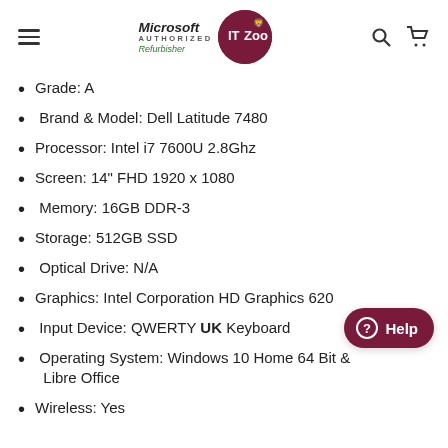Microsoft Authorized Refurbisher IT Zoo
Grade: A
Brand & Model: Dell Latitude 7480
Processor: Intel i7 7600U 2.8Ghz
Screen: 14" FHD 1920 x 1080
Memory: 16GB DDR-3
Storage: 512GB SSD
Optical Drive: N/A
Graphics: Intel Corporation HD Graphics 620
Input Device: QWERTY UK Keyboard
Operating System: Windows 10 Home 64 Bit & Libre Office
Wireless: Yes